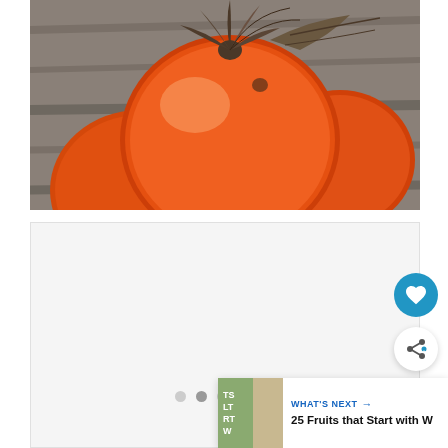[Figure (photo): Close-up photograph of ripe orange persimmons with dried brown-green calyx leaves on a wooden surface background]
[Figure (other): White/light grey content card area below the persimmon photo, with three navigation dots (carousel indicators) and social action buttons (heart/favorite and share), plus a 'What's Next' recommendation card showing '25 Fruits that Start with W']